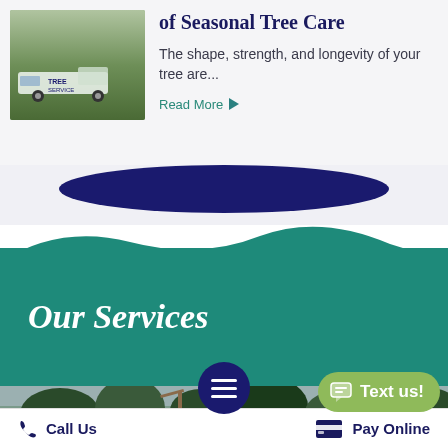[Figure (photo): Tree service company truck parked on grass with crew nearby]
of Seasonal Tree Care
The shape, strength, and longevity of your tree are...
Read More ▶
Our Services
[Figure (photo): Trees against a cloudy sky, viewed from below]
Text us!
Call Us   Pay Online